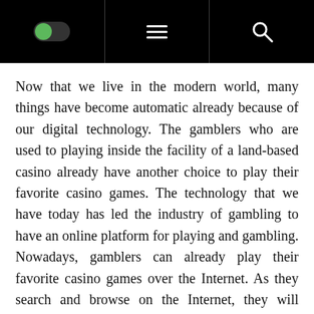[Navigation bar with toggle switch, hamburger menu, and search icon]
Now that we live in the modern world, many things have become automatic already because of our digital technology. The gamblers who are used to playing inside the facility of a land-based casino already have another choice to play their favorite casino games. The technology that we have today has led the industry of gambling to have an online platform for playing and gambling. Nowadays, gamblers can already play their favorite casino games over the Internet. As they search and browse on the Internet, they will discover that there are many games they can choose from. These are various games that are handled by different sites. Through digital technology that we have, it became